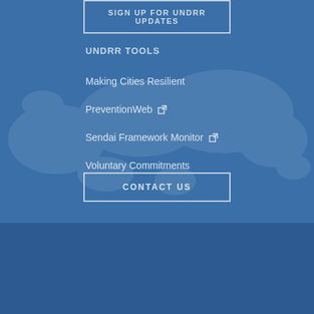SIGN UP FOR UNDRR UPDATES
UNDRR TOOLS
Making Cities Resilient
PreventionWeb [external link]
Sendai Framework Monitor [external link]
Voluntary Commitments
CONTACT US
UNDRR uses cookies to ensure you get the best experience on our website.
GOT IT!